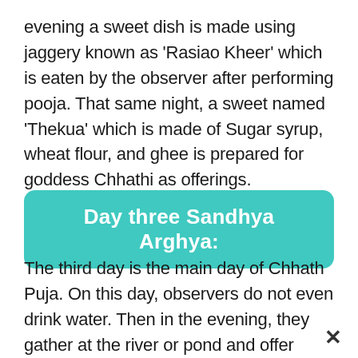evening a sweet dish is made using jaggery known as 'Rasiao Kheer' which is eaten by the observer after performing pooja. That same night, a sweet named 'Thekua' which is made of Sugar syrup, wheat flour, and ghee is prepared for goddess Chhathi as offerings.
Day three Sandhya Arghya:
The third day is the main day of Chhath Puja. On this day, observers do not even drink water. Then in the evening, they gather at the river or pond and offer oblations to the setting Sun. When the devotee is heading towards the Ghat for the offertory...